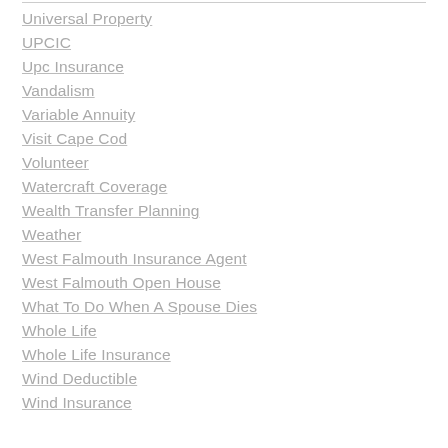Universal Property
UPCIC
Upc Insurance
Vandalism
Variable Annuity
Visit Cape Cod
Volunteer
Watercraft Coverage
Wealth Transfer Planning
Weather
West Falmouth Insurance Agent
West Falmouth Open House
What To Do When A Spouse Dies
Whole Life
Whole Life Insurance
Wind Deductible
Wind Insurance